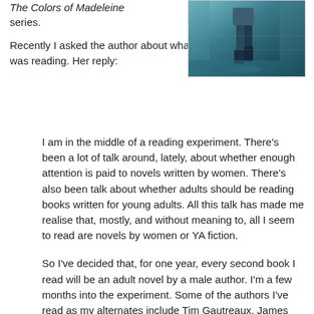The Colors of Madeleine series.
[Figure (photo): A person walking, cropped image showing legs and lower body in motion on a reflective surface with a teal/blue toned background.]
Recently I asked the author about what she was reading. Her reply:
I am in the middle of a reading experiment. There’s been a lot of talk around, lately, about whether enough attention is paid to novels written by women. There’s also been talk about whether adults should be reading books written for young adults. All this talk has made me realise that, mostly, and without meaning to, all I seem to read are novels by women or YA fiction.
So I’ve decided that, for one year, every second book I read will be an adult novel by a male author. I’m a few months into the experiment. Some of the authors I’ve read as my alternates include Tim Gautreaux, James Joyce, Joseph Heller, Ernest Hemingway and Haruki Murakami. Here are my initial observations: